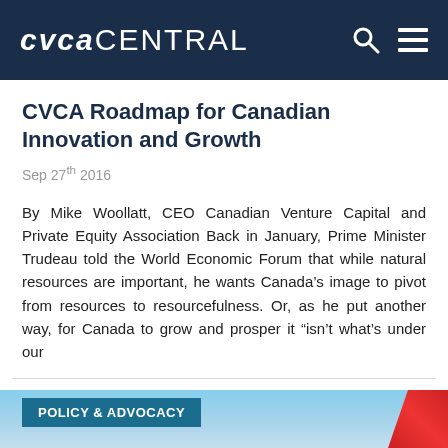CVCA CENTRAL
CVCA Roadmap for Canadian Innovation and Growth
Sep 27th 2016
By Mike Woollatt, CEO Canadian Venture Capital and Private Equity Association Back in January, Prime Minister Trudeau told the World Economic Forum that while natural resources are important, he wants Canada's image to pivot from resources to resourcefulness. Or, as he put another way, for Canada to grow and prosper it “isn’t what’s under our
[Figure (photo): Bottom portion showing a blue sky background with a red flag or banner visible on the right side, and a 'POLICY & ADVOCACY' label badge overlay on the left]